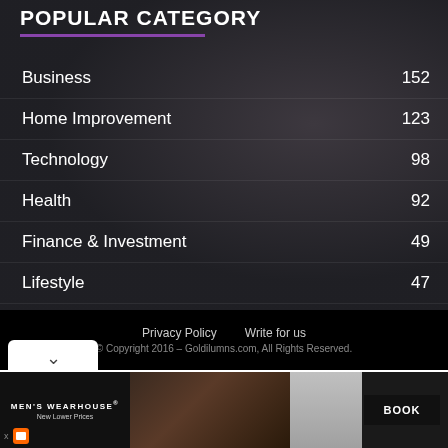POPULAR CATEGORY
Business 152
Home Improvement 123
Technology 98
Health 92
Finance & Investment 49
Lifestyle 47
Travel 44
Privacy Policy   Write for us   © Copyright 2016 – Goldilumns.com, All Rights Reserved.
[Figure (screenshot): Men's Wearhouse advertisement with couple in formal wear and BOOK button]